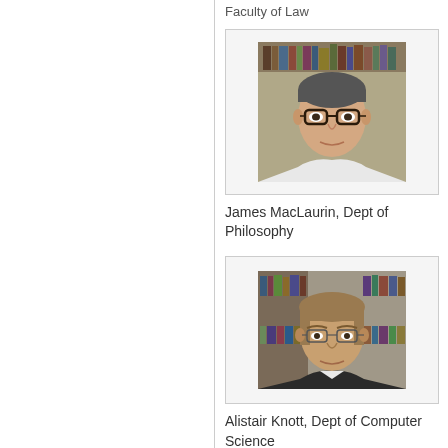Faculty of Law
[Figure (photo): Portrait photo of James MacLaurin, a middle-aged man with glasses, in front of a bookshelf]
James MacLaurin, Dept of Philosophy
[Figure (photo): Portrait photo of Alistair Knott, a man with light brown hair and glasses, in front of a bookshelf]
Alistair Knott, Dept of Computer Science